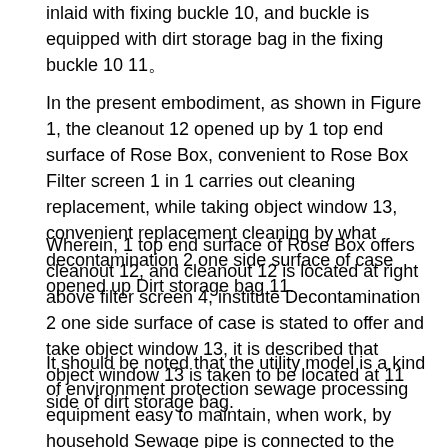inlaid with fixing buckle 10, and buckle is equipped with dirt storage bag in the fixing buckle 10 11。
In the present embodiment, as shown in Figure 1, the cleanout 12 opened up by 1 top end surface of Rose Box, convenient to Rose Box Filter screen 1 in 1 carries out cleaning replacement, while taking object window 13, convenient replacement cleaning by what decontamination 2 one side surface of case opened up Dirt storage bag 11.
Wherein, 1 top end surface of Rose Box offers cleanout 12, and cleanout 12 is located at right above filter screen 4, institute Decontamination 2 one side surface of case is stated to offer and take object window 13, it is described that object window 13 is taken to be located at 11 side of dirt storage bag.
It should be noted that the utility model is a kind of environment protection sewage processing equipment easy to maintain, when work, by household Sewage pipe is connected to the water inlet pipe 3 on 1 top of Rose Box buckle, when the sewage for being mixed with rubbish incidental enters in Rose Box 1, is led to The filter screen 4 of 1 Nei Kaka of Rose Box installation is crossed by the